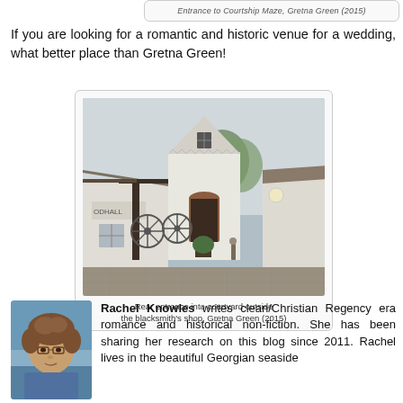[Figure (photo): Partially visible caption label at top reading 'Entrance to Courtship Maze, Gretna Green (2015)']
If you are looking for a romantic and historic venue for a wedding, what better place than Gretna Green!
[Figure (photo): Rear entrance into courtyard outside the blacksmith's shop at Gretna Green, showing white-washed buildings with a red brick arched entrance, decorative wagon wheels on the wall, and a pointed gable]
Rear entrance into courtyard outside the blacksmith's shop, Gretna Green (2015)
[Figure (photo): Portrait photo of Rachel Knowles, a woman with curly brown hair and glasses, with a seaside background]
Rachel Knowles writes clean/Christian Regency era romance and historical non-fiction. She has been sharing her research on this blog since 2011. Rachel lives in the beautiful Georgian seaside